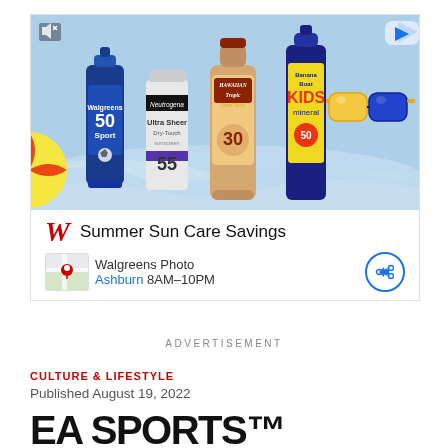[Figure (photo): Walgreens advertisement showing four sunscreen products (Walgreens Sport SPF 50, Neutrogena Ultra Sheer SPF 55, Hawaiian Tropic Sheer Touch SPF 30, Banana Boat Kids Mineral SPF 50) against a light blue beach-themed background with beach ball and sunglasses decorations. Below the image: Walgreens W logo, 'Summer Sun Care Savings' headline, Walgreens Photo / Ashburn 8AM-10PM location info with map thumbnail, and share button.]
ADVERTISEMENT
CULTURE & LIFESTYLE
Published August 19, 2022
EA SPORTS™ and More